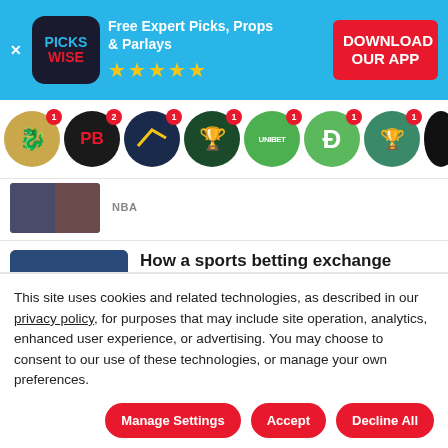[Figure (screenshot): Pickswise app advertisement banner. Shows logo, 'Free Expert Picks, Props & Parlays' with 5 stars, and 'DOWNLOAD OUR APP' red CTA button on cyan background.]
[Figure (screenshot): Horizontal scrollable icon strip showing sport/betting app icons with notification badges.]
NBA
How a sports betting exchange works: A beginners' guide to betting with Prophet Exchange
NFL
Wise n' Shine: What you need to know...
This site uses cookies and related technologies, as described in our privacy policy, for purposes that may include site operation, analytics, enhanced user experience, or advertising. You may choose to consent to our use of these technologies, or manage your own preferences.